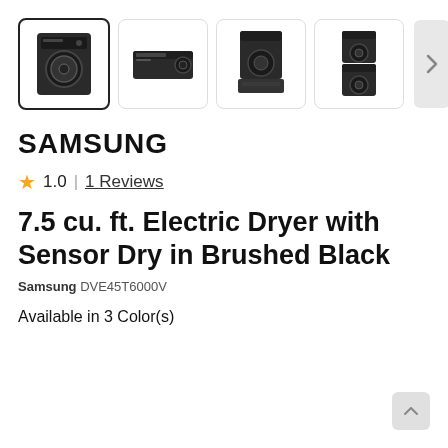[Figure (photo): Row of four product thumbnail images of a Samsung black electric dryer: front view, side/top view, dryer on pedestal, stacked washer-dryer; first thumbnail has a bold border indicating selection. A right navigation arrow button is shown at the end.]
SAMSUNG
1.0  |  1 Reviews
7.5 cu. ft. Electric Dryer with Sensor Dry in Brushed Black
Samsung DVE45T6000V
Available in 3 Color(s)